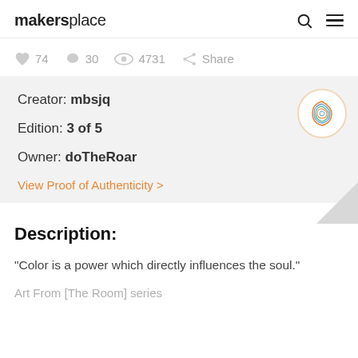makersplace
74  30  4731  Share
Creator: mbsjq
Edition: 3 of 5
Owner: doTheRoar
View Proof of Authenticity >
Description:
"Color is a power which directly influences the soul."
Art From [The Room] series